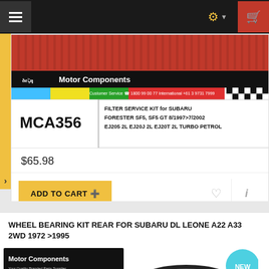Motor Components website navigation bar
[Figure (screenshot): Motor Components filter service kit product image for SUBARU FORESTER SF5, SF5 GT 8/1997>7/2002 EJ205 2L EJ20J 2L EJ20T 2L TURBO PETROL, part number MCA356]
$65.98
ADD TO CART +
WHEEL BEARING KIT REAR FOR SUBARU DL LEONE A22 A33 2WD 1972 >1995
[Figure (photo): Motor Components logo and wheel bearing photo, with NEW badge]